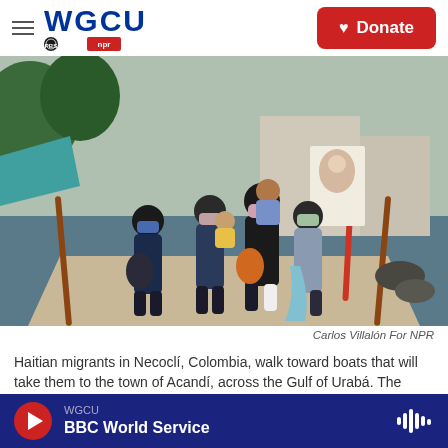WGCU PBS NPR — Donate
[Figure (photo): Haitian migrants wearing face masks walking toward boats at a waterfront dock in Necoclí, Colombia. A woman carries a child on her back. Religious imagery visible in background. Photo by Carlos Villalón For NPR.]
Carlos Villalón For NPR
Haitian migrants in Necoclí, Colombia, walk toward boats that will take them to the town of Acandí, across the Gulf of Urabá. The boats can't keep up with the number of Haitians looking to travel from Colombia through the jungle to Panama to eventually reach the U.S.
WGCU BBC World Service